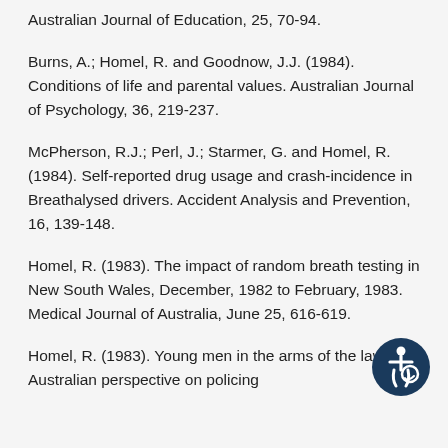Australian Journal of Education, 25, 70-94.
Burns, A.; Homel, R. and Goodnow, J.J. (1984). Conditions of life and parental values. Australian Journal of Psychology, 36, 219-237.
McPherson, R.J.; Perl, J.; Starmer, G. and Homel, R. (1984). Self-reported drug usage and crash-incidence in Breathalysed drivers. Accident Analysis and Prevention, 16, 139-148.
Homel, R. (1983). The impact of random breath testing in New South Wales, December, 1982 to February, 1983. Medical Journal of Australia, June 25, 616-619.
Homel, R. (1983). Young men in the arms of the law: An Australian perspective on policing